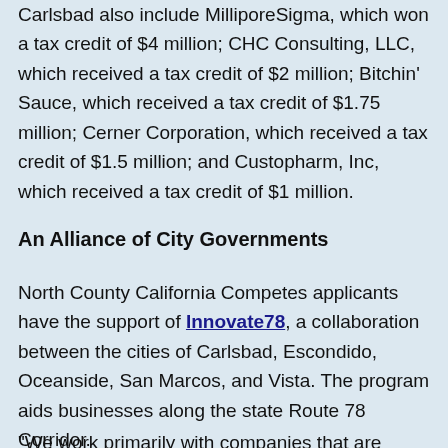Carlsbad also include MilliporeSigma, which won a tax credit of $4 million; CHC Consulting, LLC, which received a tax credit of $2 million; Bitchin' Sauce, which received a tax credit of $1.75 million; Cerner Corporation, which received a tax credit of $1.5 million; and Custopharm, Inc, which received a tax credit of $1 million.
An Alliance of City Governments
North County California Competes applicants have the support of Innovate78, a collaboration between the cities of Carlsbad, Escondido, Oceanside, San Marcos, and Vista. The program aids businesses along the state Route 78 Corridor.
"We work primarily with companies that are